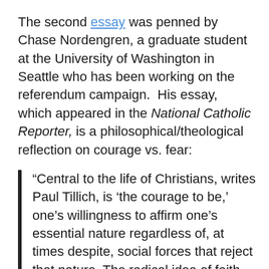The second essay was penned by Chase Nordengren, a graduate student at the University of Washington in Seattle who has been working on the referendum campaign. His essay, which appeared in the National Catholic Reporter, is a philosophical/theological reflection on courage vs. fear:
“Central to the life of Christians, writes Paul Tillich, is ‘the courage to be,’ one’s willingness to affirm one’s essential nature regardless of, at times despite, social forces that reject that nature. The radical idea of faith, Tillich argues, rests in the practice of this essential skill, the skill to affirm all the parts of our identities God